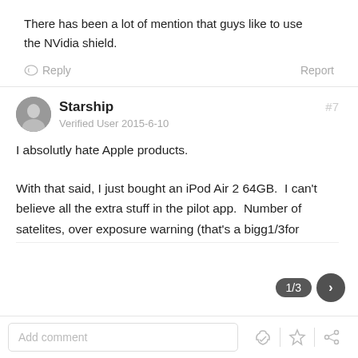There has been a lot of mention that guys like to use the NVidia shield.
Reply   Report
Starship  #7
Verified User 2015-6-10
I absolutly hate Apple products.
With that said, I just bought an iPod Air 2 64GB.  I can't believe all the extra stuff in the pilot app.  Number of satelites, over exposure warning (that's a bigg1/3for
Add comment